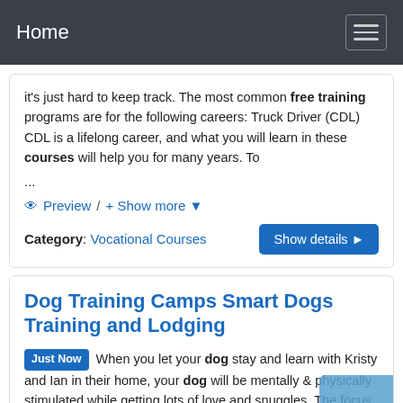Home
it's just hard to keep track. The most common free training programs are for the following careers: Truck Driver (CDL) CDL is a lifelong career, and what you will learn in these courses will help you for many years. To
...
👁 Preview / + Show more ▼
Category: Vocational Courses
Dog Training Camps Smart Dogs Training and Lodging
Just Now  When you let your dog stay and learn with Kristy and Ian in their home, your dog will be mentally & physically stimulated while getting lots of love and snuggles. The focus will be on your top training